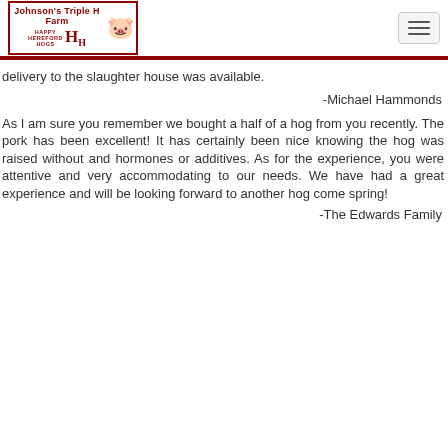Johnson's Triple H Farm - Happy Hereford Hogs
delivery to the slaughter house was available.
-Michael Hammonds
As I am sure you remember we bought a half of a hog from you recently. The pork has been excellent! It has certainly been nice knowing the hog was raised without and hormones or additives. As for the experience, you were attentive and very accommodating to our needs. We have had a great experience and will be looking forward to another hog come spring!
-The Edwards Family